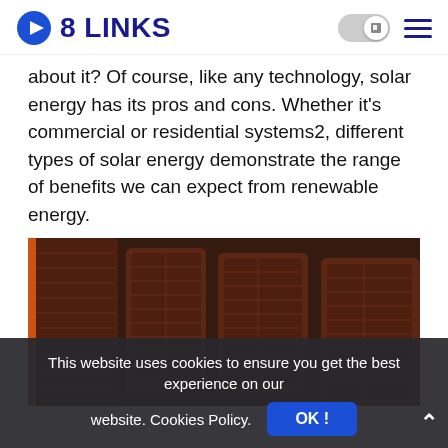8 LINKS
about it? Of course, like any technology, solar energy has its pros and cons. Whether it's commercial or residential systems2, different types of solar energy demonstrate the range of benefits we can expect from renewable energy.
[Figure (photo): Close-up photo of folding portable solar panels with orange trim against a dark background.]
This website uses cookies to ensure you get the best experience on our website. Cookies Policy.  OK!